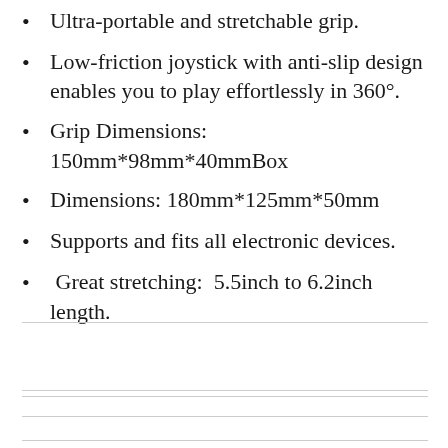Ultra-portable and stretchable grip.
Low-friction joystick with anti-slip design enables you to play effortlessly in 360°.
Grip Dimensions: 150mm*98mm*40mmBox
Dimensions: 180mm*125mm*50mm
Supports and fits all electronic devices.
Great stretching:  5.5inch to 6.2inch length.